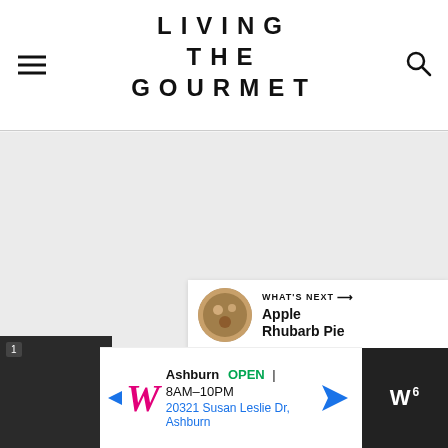LIVING THE GOURMET
[Figure (screenshot): Large empty gray content area placeholder for article image or video]
[Figure (infographic): Social sidebar with heart/like button showing count 1 and share button]
[Figure (infographic): What's Next panel showing Apple Rhubarb Pie with thumbnail]
[Figure (photo): Bottom left dark strip with partial UI element]
[Figure (screenshot): Advertisement banner for Walgreens: Ashburn OPEN 8AM-10PM, 20321 Susan Leslie Dr, Ashburn]